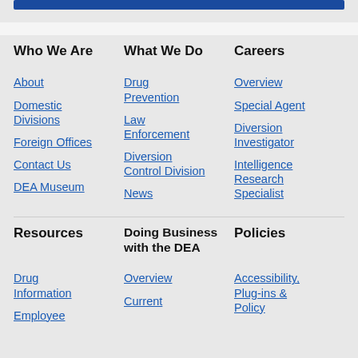Who We Are
About
Domestic Divisions
Foreign Offices
Contact Us
DEA Museum
What We Do
Drug Prevention
Law Enforcement
Diversion Control Division
News
Careers
Overview
Special Agent
Diversion Investigator
Intelligence Research Specialist
Resources
Drug Information
Employee
Doing Business with the DEA
Overview
Current
Policies
Accessibility, Plug-ins & Policy